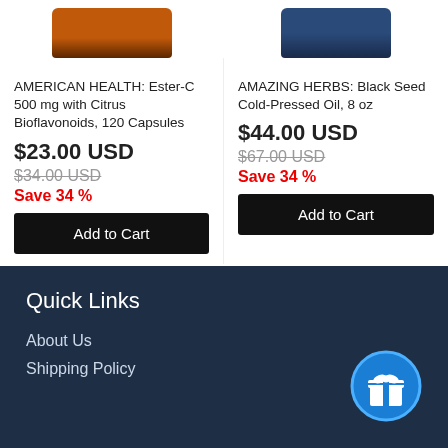[Figure (photo): Product image top portion of American Health Ester-C supplement bottle (orange/brown label)]
[Figure (photo): Product image top portion of Amazing Herbs Black Seed Cold-Pressed Oil bottle (dark blue label)]
AMERICAN HEALTH: Ester-C 500 mg with Citrus Bioflavonoids, 120 Capsules
$23.00 USD
$34.00 USD
Save 34 %
Add to Cart
AMAZING HERBS: Black Seed Cold-Pressed Oil, 8 oz
$44.00 USD
$67.00 USD
Save 34 %
Add to Cart
Quick Links
About Us
Shipping Policy